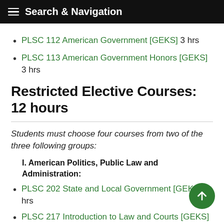Search & Navigation
PLSC 112 American Government [GEKS] 3 hrs
PLSC 113 American Government Honors [GEKS] 3 hrs
Restricted Elective Courses: 12 hours
Students must choose four courses from two of the three following groups:
I. American Politics, Public Law and Administration:
PLSC 202 State and Local Government [GEKS] 3 hrs
PLSC 217 Introduction to Law and Courts [GEKS] 3 hrs